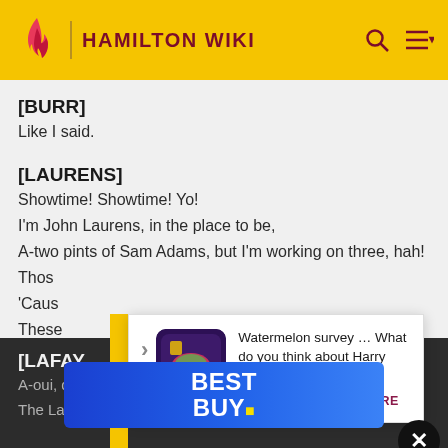HAMILTON WIKI
[BURR]
Like I said.
[LAURENS]
Showtime! Showtime! Yo!
I'm John Laurens, in the place to be,
A-two pints of Sam Adams, but I'm working on three, hah!
Thos
'Caus
These
[Figure (infographic): Advertisement card: Watermelon survey image with text 'Watermelon survey … What do you think about Harry Styles? TAKE THE SURVEY HERE']
[LAFAY
A-oui, d
The Lancelot of the revolutionary set!
[Figure (logo): Best Buy advertisement banner with blue gradient background and white BEST BUY logo with yellow tag]